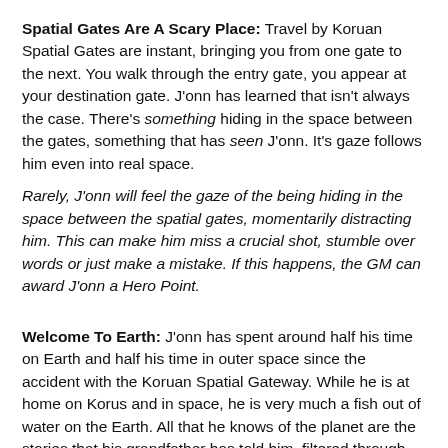Spatial Gates Are A Scary Place: Travel by Koruan Spatial Gates are instant, bringing you from one gate to the next. You walk through the entry gate, you appear at your destination gate. J'onn has learned that isn't always the case. There's something hiding in the space between the gates, something that has seen J'onn. It's gaze follows him even into real space.
Rarely, J'onn will feel the gaze of the being hiding in the space between the spatial gates, momentarily distracting him. This can make him miss a crucial shot, stumble over words or just make a mistake. If this happens, the GM can award J'onn a Hero Point.
Welcome To Earth: J'onn has spent around half his time on Earth and half his time in outer space since the accident with the Koruan Spatial Gateway. While he is at home on Korus and in space, he is very much a fish out of water on the Earth. All that he knows of the planet are the stories that his grandfather has told him, filtered through age and nostalgia. The GM can award J'onn a Hero Point if his lack of knowledge